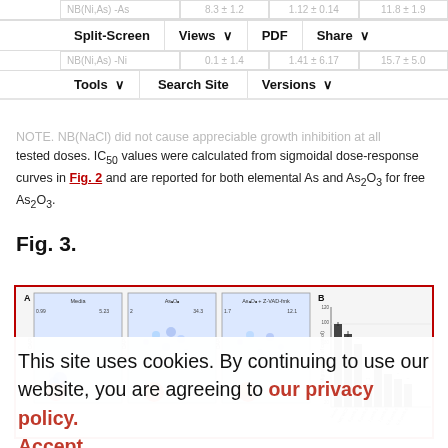|  |  |  |  |
| --- | --- | --- | --- |
| NB(Ni,As) -As | 8.3 ± 1.2 | 1.12 ± 0.14 | 11.8 ± 1.9 |
| NB(Ni,As) -Ni | 0.1 ± 1.4 | 1.41 ± 6.17 | 15.7 ± 5.0 |
Split-Screen | Views | PDF | Share | Tools | Search Site | Versions
NOTE. NB(NaCl) did not cause appreciable growth inhibition at all tested doses. IC50 values were calculated from sigmoidal dose-response curves in Fig. 2 and are reported for both elemental As and As2O3 for free As2O3.
Fig. 3.
[Figure (other): Figure 3 consisting of panel A showing three flow cytometry scatter plots (Media, As2O3, As2O3+Z-VAD-fmk conditions) showing DAPI staining, and panel B showing a bar chart of migration percentage of control for various treatment conditions.]
This site uses cookies. By continuing to use our website, you are agreeing to our privacy policy. Accept